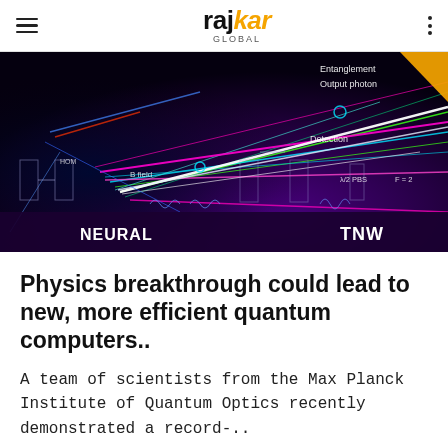rajkar Global
[Figure (photo): A quantum optics/physics visualization showing colorful laser beams (pink, green, cyan, white) in a dark environment with scientific diagram overlays including labels: Entanglement, Output photon, Detection, B field, λ/2, PBS, F=2. Bottom bar shows NEURAL and TNW logos on a dark purple background.]
Physics breakthrough could lead to new, more efficient quantum computers..
A team of scientists from the Max Planck Institute of Quantum Optics recently demonstrated a record-..